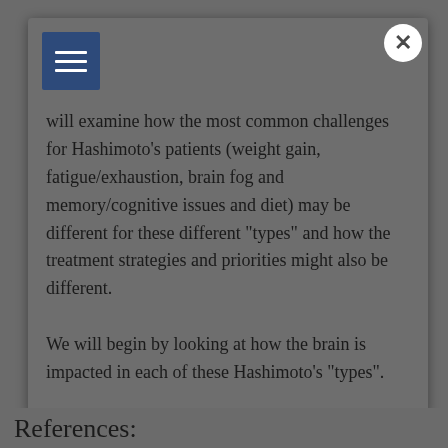will examine how the most common challenges for Hashimoto’s patients (weight gain, fatigue/exhaustion, brain fog and memory/cognitive issues and diet) may be different for these different “types” and how the treatment strategies and priorities might also be different.
We will begin by looking at how the brain is impacted in each of these Hashimoto’s “types”.
References: